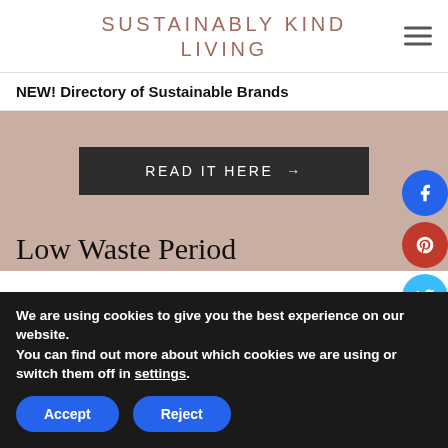SUSTAINABLY KIND LIVING
NEW! Directory of Sustainable Brands
READ IT HERE →
Low Waste Period
We are using cookies to give you the best experience on our website.
You can find out more about which cookies we are using or switch them off in settings.
Accept
Reject